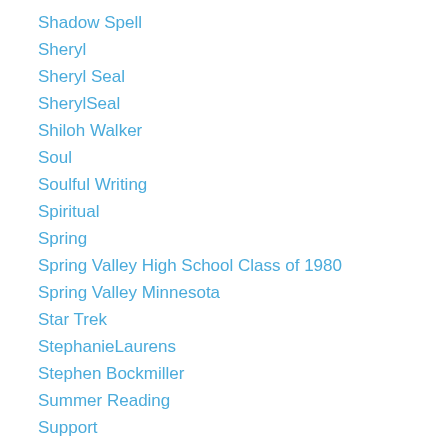Shadow Spell
Sheryl
Sheryl Seal
SherylSeal
Shiloh Walker
Soul
Soulful Writing
Spiritual
Spring
Spring Valley High School Class of 1980
Spring Valley Minnesota
Star Trek
StephanieLaurens
Stephen Bockmiller
Summer Reading
Support
SusanEricksen
SylviaDay
Technology News
THE MacGREGORS